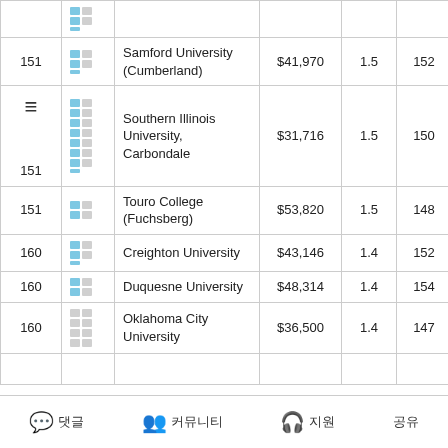| Rank |  | School | Tuition | Score | Bar | Location |
| --- | --- | --- | --- | --- | --- | --- |
| 151 |  | Samford University (Cumberland) | $41,970 | 1.5 | 152 | Birmingham, AL |
| 151 |  | Southern Illinois University, Carbondale | $31,716 | 1.5 | 150 | Carbondale, IL |
| 151 |  | Touro College (Fuchsberg) | $53,820 | 1.5 | 148 | Central Islip, NY |
| 160 |  | Creighton University | $43,146 | 1.4 | 152 | Omaha, NE |
| 160 |  | Duquesne University | $48,314 | 1.4 | 154 | Pittsburgh, PA |
| 160 |  | Oklahoma City University | $36,500 | 1.4 | 147 | Oklahoma City, OK |